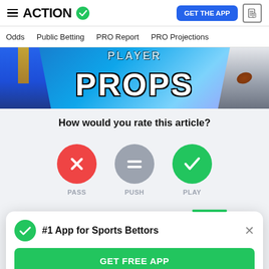ACTION — GET THE APP
Odds | Public Betting | PRO Report | PRO Projections
[Figure (photo): Sports betting website hero image showing football players in blue and white jerseys with large text 'PLAYER PROPS' overlaid]
How would you rate this article?
[Figure (infographic): Three rating buttons: red X circle labeled PASS, gray equals circle labeled PUSH, green checkmark circle labeled PLAY]
#1 App for Sports Bettors
GET FREE APP